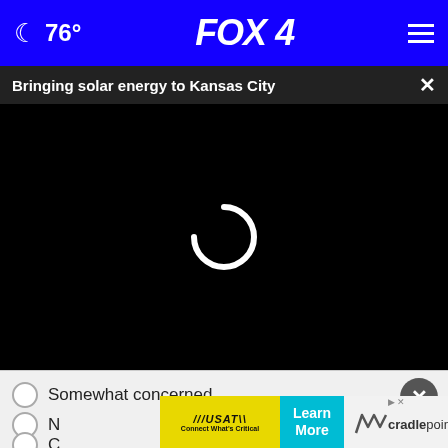🌙 76° FOX 4 ☰
Bringing solar energy to Kansas City ×
[Figure (screenshot): Black video loading area with white spinner/loading circle icon in center]
Somewhat concerned
[Figure (infographic): Advertisement banner: USAT Connect What's Critical | Learn More | cradlepoint]